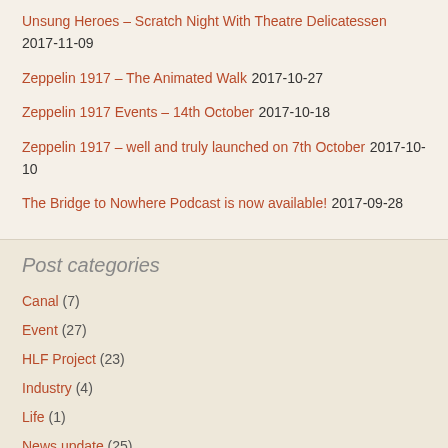Unsung Heroes – Scratch Night With Theatre Delicatessen 2017-11-09
Zeppelin 1917 – The Animated Walk 2017-10-27
Zeppelin 1917 Events – 14th October 2017-10-18
Zeppelin 1917 – well and truly launched on 7th October 2017-10-10
The Bridge to Nowhere Podcast is now available! 2017-09-28
Post categories
Canal (7)
Event (27)
HLF Project (23)
Industry (4)
Life (1)
News update (25)
Streets (1)